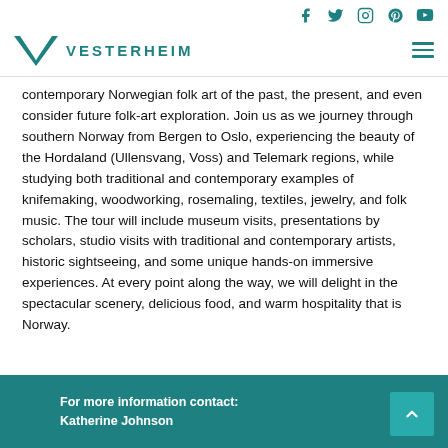Social icons: Facebook, Twitter, Instagram, Pinterest, YouTube
[Figure (logo): Vesterheim logo — teal V chevron with VESTERHEIM text]
contemporary Norwegian folk art of the past, the present, and even consider future folk-art exploration. Join us as we journey through southern Norway from Bergen to Oslo, experiencing the beauty of the Hordaland (Ullensvang, Voss) and Telemark regions, while studying both traditional and contemporary examples of knifemaking, woodworking, rosemaling, textiles, jewelry, and folk music. The tour will include museum visits, presentations by scholars, studio visits with traditional and contemporary artists, historic sightseeing, and some unique hands-on immersive experiences. At every point along the way, we will delight in the spectacular scenery, delicious food, and warm hospitality that is Norway.
For more information contact:
Katherine Johnson